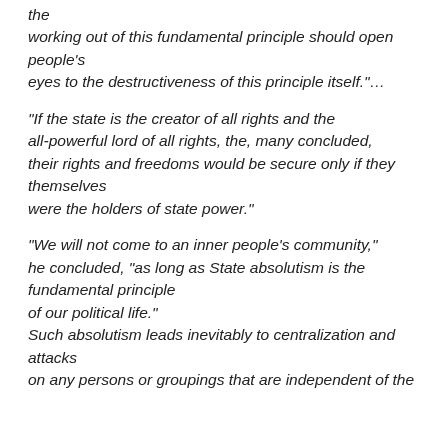the working out of this fundamental principle should open people's eyes to the destructiveness of this principle itself."…
"If the state is the creator of all rights and the all-powerful lord of all rights, the, many concluded, their rights and freedoms would be secure only if they themselves were the holders of state power."
"We will not come to an inner people's community," he concluded, "as long as State absolutism is the fundamental principle of our political life." Such absolutism leads inevitably to centralization and attacks on any persons or groupings that are independent of the